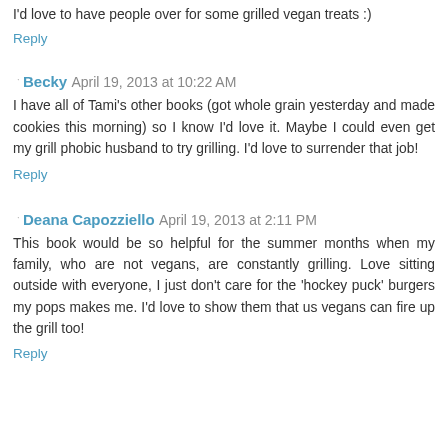I'd love to have people over for some grilled vegan treats :)
Reply
Becky  April 19, 2013 at 10:22 AM
I have all of Tami's other books (got whole grain yesterday and made cookies this morning) so I know I'd love it. Maybe I could even get my grill phobic husband to try grilling. I'd love to surrender that job!
Reply
Deana Capozziello  April 19, 2013 at 2:11 PM
This book would be so helpful for the summer months when my family, who are not vegans, are constantly grilling. Love sitting outside with everyone, I just don't care for the 'hockey puck' burgers my pops makes me. I'd love to show them that us vegans can fire up the grill too!
Reply